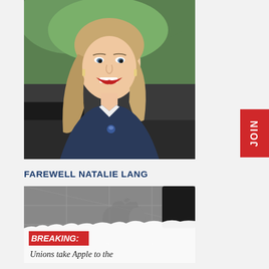[Figure (photo): Portrait photo of Natalie Lang, a smiling woman with long blonde hair, wearing a navy blazer over a white shirt with a small union pin, seated in front of a green leafy background]
FAREWELL NATALIE LANG
[Figure (photo): Dark grey tiled floor with Apple logo embossed, overlaid with a torn paper graphic showing 'BREAKING:' in red and white text, and below it 'Unions take Apple to the']